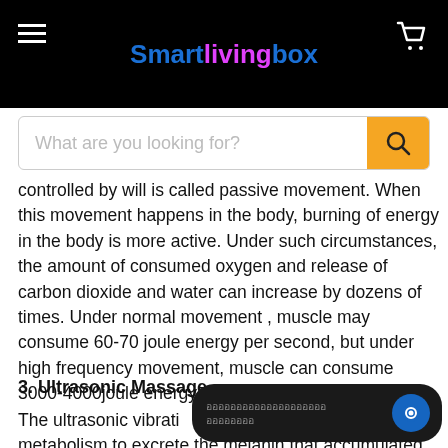Smartlivingbox — navigation header with hamburger menu, logo, and cart icon
[Figure (screenshot): Search bar with placeholder text 'What are you looking for?' and orange search button]
controlled by will is called passive movement. When this movement happens in the body, burning of energy in the body is more active. Under such circumstances, the amount of consumed oxygen and release of carbon dioxide and water can increase by dozens of times. Under normal movement , muscle may consume 60-70 joule energy per second, but under high frequency movement, muscle can consume 3000-4000joule energy per second
3. Ultrasonic Massage
The ultrasonic vibrati... metabolism to excrete the melanin that accumulated in the skin, improving